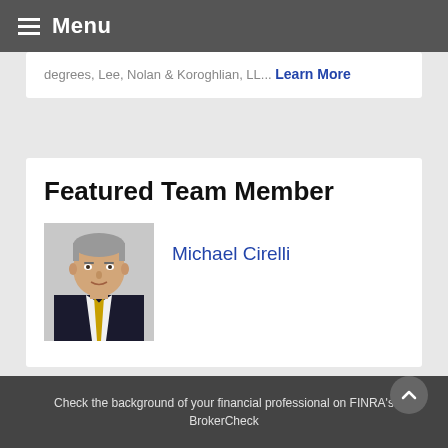Menu
degrees, Lee, Nolan & Koroghlian, LL... Learn More
Featured Team Member
[Figure (photo): Professional headshot of Michael Cirelli, a man in a dark suit with a yellow tie, gray hair]
Michael Cirelli
Check the background of your financial professional on FINRA's BrokerCheck